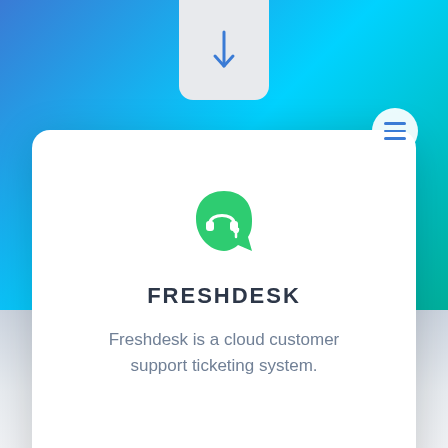[Figure (screenshot): Freshdesk app info card on a gradient blue-teal background. Shows Freshdesk logo (green icon with headphones), title FRESHDESK in bold, and description text. A tab with downward arrow is at top center, and a hamburger menu button (three lines) is at top right.]
FRESHDESK
Freshdesk is a cloud customer support ticketing system.